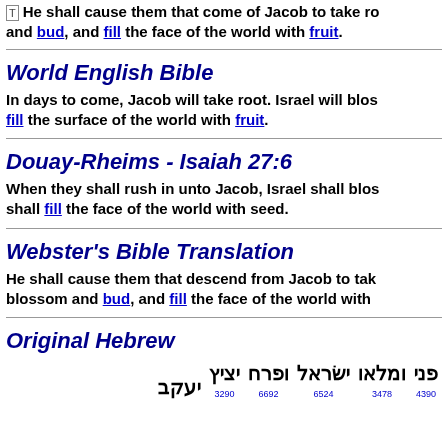[T] He shall cause them that come of Jacob to take root, and bud, and fill the face of the world with fruit.
World English Bible
In days to come, Jacob will take root. Israel will blossom and fill the surface of the world with fruit.
Douay-Rheims - Isaiah 27:6
When they shall rush in unto Jacob, Israel shall blossom and shall fill the face of the world with seed.
Webster's Bible Translation
He shall cause them that descend from Jacob to take root, blossom and bud, and fill the face of the world with fruit.
Original Hebrew
פני 4390 ומלאו 3478 ישׂראל 6524 ופרח 6692 יציץ 3290 יעקב